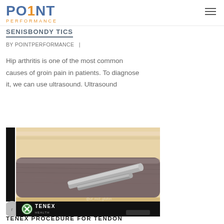PO1NT PERFORMANCE
SENISBONDY TICS
BY POINTPERFORMANCE  |
Hip arthritis is one of the most common causes of groin pain in patients. To diagnose it, we can use ultrasound. Ultrasound
[Figure (photo): Medical illustration showing an ultrasound-guided needle procedure on tendon tissue, with TENEX Health branding and logo at the bottom]
TENEX PROCEDURE FOR TENDON